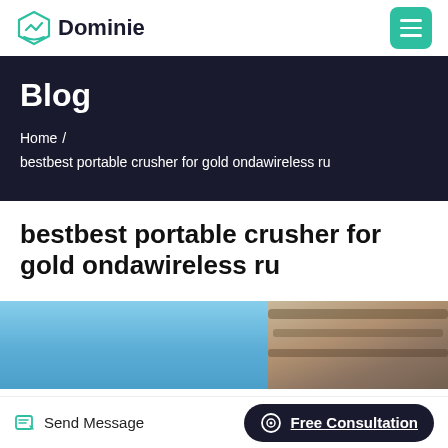Dominie
Blog
Home  /  bestbest portable crusher for gold ondawireless ru
bestbest portable crusher for gold ondawireless ru
[Figure (photo): Two side-by-side images: left is a blue sky, right is a sandy/rocky ground surface]
Send Message   Free Consultation